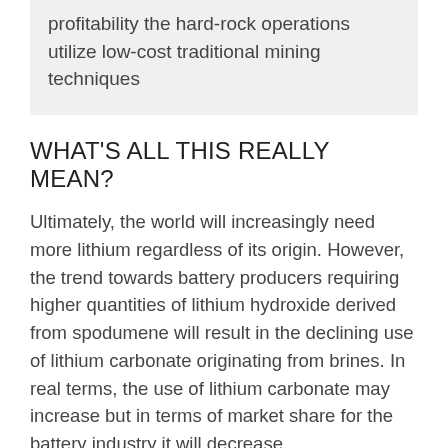profitability the hard-rock operations utilize low-cost traditional mining techniques
WHAT'S ALL THIS REALLY MEAN?
Ultimately, the world will increasingly need more lithium regardless of its origin. However, the trend towards battery producers requiring higher quantities of lithium hydroxide derived from spodumene will result in the declining use of lithium carbonate originating from brines. In real terms, the use of lithium carbonate may increase but in terms of market share for the battery industry it will decrease.